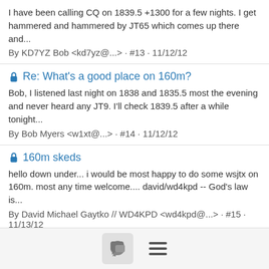I have been calling CQ on 1839.5 +1300 for a few nights. I get hammered and hammered by JT65 which comes up there and...
By KD7YZ Bob <kd7yz@...> · #13 · 11/12/12
Re: What's a good place on 160m?
Bob, I listened last night on 1838 and 1835.5 most the evening and never heard any JT9. I'll check 1839.5 after a while tonight...
By Bob Myers <w1xt@...> · #14 · 11/12/12
160m skeds
hello down under... i would be most happy to do some wsjtx on 160m. most any time welcome.... david/wd4kpd -- God's law is...
By David Michael Gaytko // WD4KPD <wd4kpd@...> · #15 · 11/13/12
Re: 160m skeds
I am on 1.3895 now. I'll be there for a while if you can make it. Tom KJ4QDZ
By kj4qdz <nervous@...> · #16 · 11/13/12
[Figure (infographic): Footer bar with a chat bubble button icon and a hamburger menu icon]